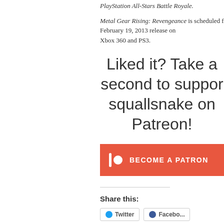PlayStation All-Stars Battle Royale. Metal Gear Rising: Revengeance is scheduled for a February 19, 2013 release on Xbox 360 and PS3.
Liked it? Take a second to support squallsnake on Patreon!
[Figure (other): Patreon 'Become a Patron' button with red background, Patreon logo icon and text 'BECOME A PATRON']
Share this: